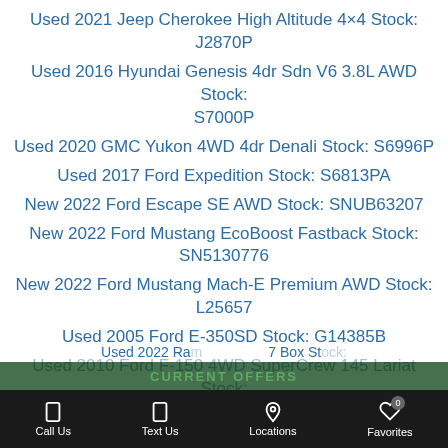Used 2021 Jeep Cherokee High Altitude 4×4 Stock: J2870P
Used 2016 Hyundai Genesis 4dr Sdn V6 3.8L AWD Stock: S7000P
Used 2020 GMC Yukon 4WD 4dr Denali Stock: S6996P
Used 2017 Ford Expedition Stock: S6813PA
New 2022 Ford Escape SE AWD Stock: SNUB63207
New 2022 Ford Mustang EcoBoost Fastback Stock: SN5130776
New 2022 Ford Mustang Mach-E Premium AWD Stock: L25657
Used 2005 Ford E-350SD Stock: G14385B
Used 2010 Ford F-150 4WD SuperCrew 145 Lariat Stock: MT5687
Used 2021 Ford Bronco Sport Big Bend 4×4 Stock: M3210B
Used 2022 Ram ... 7 Box Stock: ...
Call Us  Text Us  CURRENT OFFERS  Locations  Favorites 0